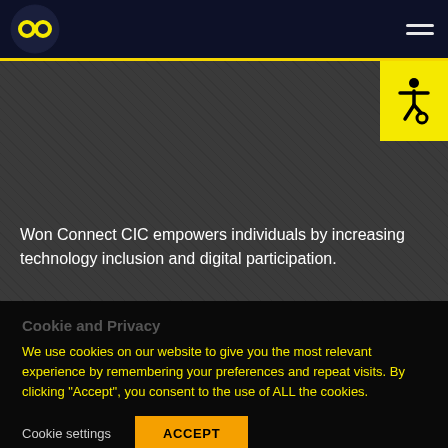Won Connect CIC — navigation header with logo and hamburger menu
Won Connect CIC empowers individuals by increasing technology inclusion and digital participation.
Cookie and Privacy
We use cookies on our website to give you the most relevant experience by remembering your preferences and repeat visits. By clicking "Accept", you consent to the use of ALL the cookies.
Cookie settings   ACCEPT